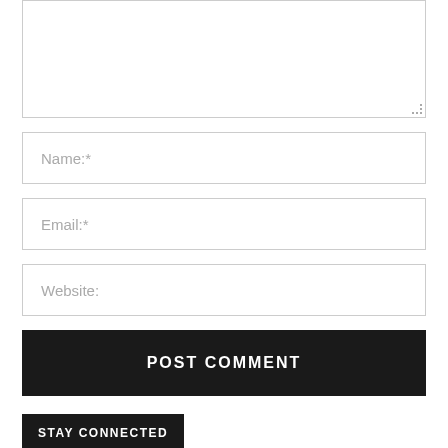[Figure (screenshot): Textarea input field with resize handle at bottom right]
Name:*
Email:*
Website:
POST COMMENT
STAY CONNECTED
[Figure (logo): Google+ circular red icon with white G+ text, followed by '0 Followers' text and 'FOLLOW' link on the right]